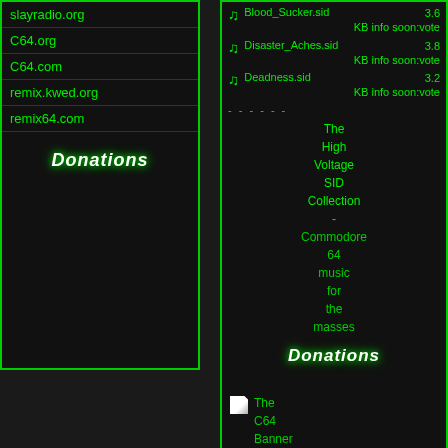slayradio.org
C64.org
C64.com
remix.kwed.org
remix64.com
Donations
Blood_Sucker.sid  3.6 KB info soon:vote
Disaster_Aches.sid  3.8 KB info soon:vote
Deadness.sid  3.2 KB info soon:vote
The High Voltage SID Collection - Commodore 64 music for the masses
Donations
The C64 Banner Exchange
The C64 Banner Exchange